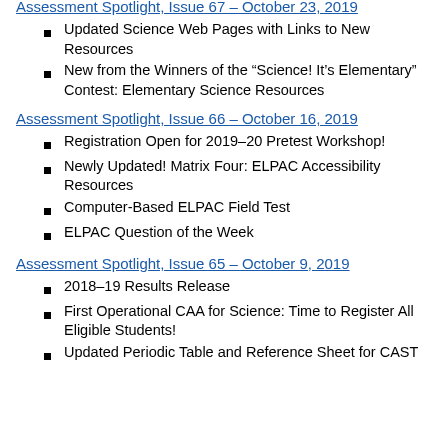Assessment Spotlight, Issue 67 – October 23, 2019
Updated Science Web Pages with Links to New Resources
New from the Winners of the “Science! It’s Elementary” Contest: Elementary Science Resources
Assessment Spotlight, Issue 66 – October 16, 2019
Registration Open for 2019–20 Pretest Workshop!
Newly Updated! Matrix Four: ELPAC Accessibility Resources
Computer-Based ELPAC Field Test
ELPAC Question of the Week
Assessment Spotlight, Issue 65 – October 9, 2019
2018–19 Results Release
First Operational CAA for Science: Time to Register All Eligible Students!
Updated Periodic Table and Reference Sheet for CAST